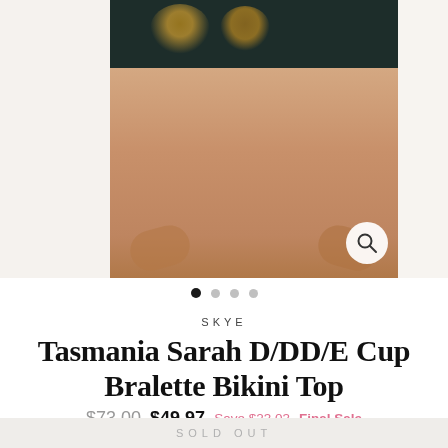[Figure (photo): Product photo of a woman wearing a dark floral bikini top (Tasmania pattern), cropped to show torso. A magnify/zoom icon appears in the bottom right of the image.]
● ● ● ●
SKYE
Tasmania Sarah D/DD/E Cup Bralette Bikini Top
$73.00  $49.97  Save $23.03  Final Sale
COLOR — Tasmania
SIZE
SOLD OUT